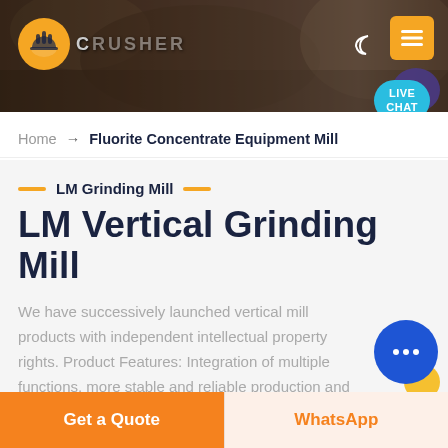[Figure (screenshot): Website header banner with dark mining/industrial background image, orange logo on left, brand name, moon icon and orange menu button on right, and a teal live chat bubble with purple accent.]
Home → Fluorite Concentrate Equipment Mill
LM Grinding Mill
LM Vertical Grinding Mill
We have successively launched vertical mill products with independent intellectual property rights. Product Features: Integration of multiple functions, more stable and reliable production and more excellent capacity
Get a Quote
WhatsApp